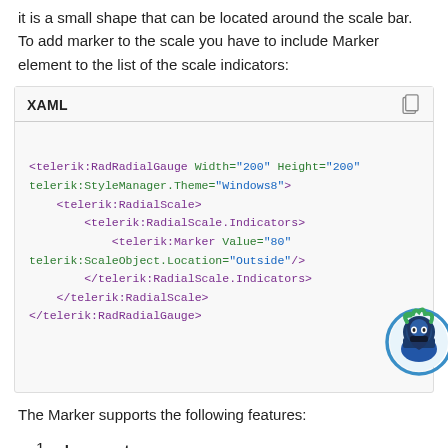it is a small shape that can be located around the scale bar. To add marker to the scale you have to include Marker element to the list of the scale indicators:
[Figure (screenshot): XAML code block showing RadRadialGauge XML markup with a Marker element set to Value=80 and ScaleObject.Location=Outside, with a ninja mascot badge in the bottom-right corner.]
The Marker supports the following features:
Layout
You can set location of the Marker relative to a scale bar using a telerik:ScaleObject.Location